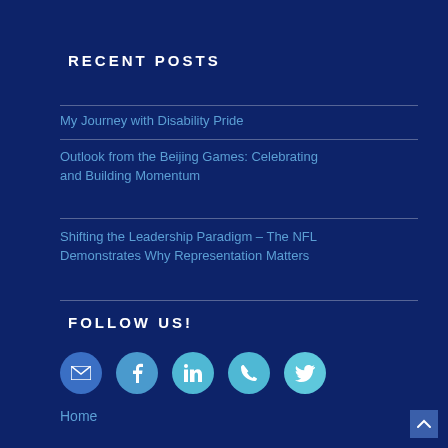RECENT POSTS
My Journey with Disability Pride
Outlook from the Beijing Games: Celebrating and Building Momentum
Shifting the Leadership Paradigm – The NFL Demonstrates Why Representation Matters
FOLLOW US!
[Figure (infographic): Row of 5 circular social media icon buttons: email, Facebook, LinkedIn, phone, Twitter]
Home